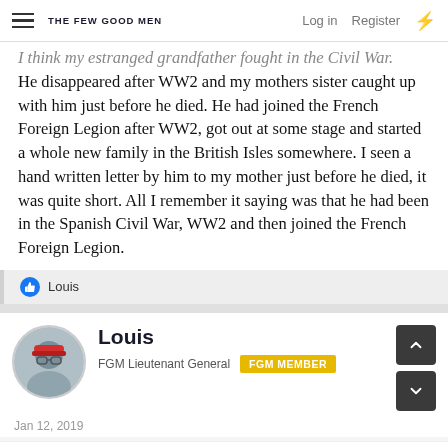THE FEW GOOD MEN | Log in  Register
I think my estranged grandfather fought in the Civil War. He disappeared after WW2 and my mothers sister caught up with him just before he died. He had joined the French Foreign Legion after WW2, got out at some stage and started a whole new family in the British Isles somewhere. I seen a hand written letter by him to my mother just before he died, it was quite short. All I remember it saying was that he had been in the Spanish Civil War, WW2 and then joined the French Foreign Legion.
👍 Louis
Louis
FGM Lieutenant General  FGM MEMBER
Jan 12, 2019
Madrid. Place appears to start below, from the beginning th...